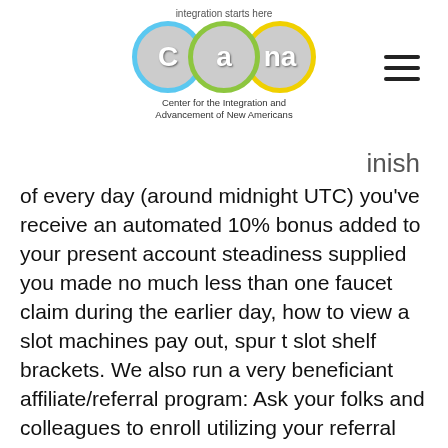[Figure (logo): CIANA logo - Center for the Integration and Advancement of New Americans, with tagline 'integration starts here' and three overlapping circles in blue, green, and yellow]
inish
of every day (around midnight UTC) you've receive an automated 10% bonus added to your present account steadiness supplied you made no much less than one faucet claim during the earlier day, how to view a slot machines pay out, spur t slot shelf brackets. We also run a very beneficiant affiliate/referral program: Ask your folks and colleagues to enroll utilizing your referral hyperlink and obtain 50% commission from every claim that they make from the faucet. What Are Random Number Generators at Online Casinos, best poker hud for pokerstars. Random number generators or RNGs play an integral role in real money casino games USA slots online casinos. This brand offers a $2,000 welcome bonus that